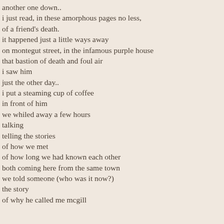another one down..
i just read, in these amorphous pages no less,
of a friend's death.
it happened just a little ways away
on montegut street, in the infamous purple house
that bastion of death and foul air
i saw him
just the other day..
i put a steaming cup of coffee
in front of him
we whiled away a few hours
talking
telling the stories
of how we met
of how long we had known each other
both coming here from the same town
we told someone (who was it now?)
the story
of why he called me mcgill